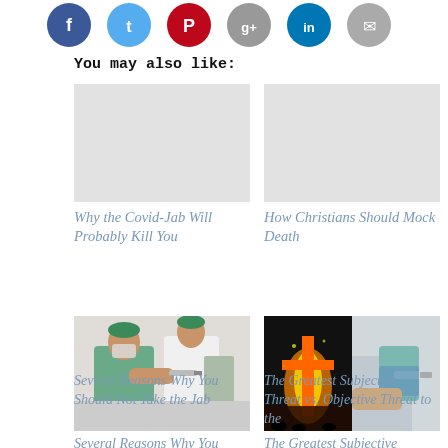[Figure (other): Social media sharing buttons: Facebook (blue), Twitter (light blue), Pinterest (red), Google+ (gray), LinkedIn (dark blue), email/other (gray)]
You may also like:
[Figure (photo): Blank/placeholder image for article: Why the Covid-Jab Will Probably Kill You]
Why the Covid-Jab Will Probably Kill You
[Figure (photo): Blank/placeholder image for article: How Christians Should Mock Death]
How Christians Should Mock Death
[Figure (photo): Photo of healthcare workers giving a vaccine injection, wearing green scrubs and face masks]
Several Reasons Why You Should Not Take the Jab
[Figure (photo): Two images side by side: burning cross at night and a medical injection being given]
The Greatest Subjective Threat vs. Objective Threat to the